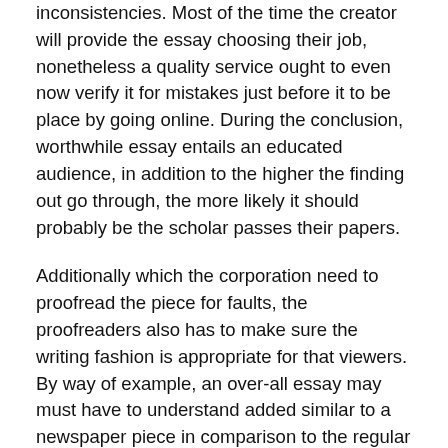inconsistencies. Most of the time the creator will provide the essay choosing their job, nonetheless a quality service ought to even now verify it for mistakes just before it to be place by going online. During the conclusion, worthwhile essay entails an educated audience, in addition to the higher the finding out go through, the more likely it should probably be the scholar passes their papers.
Additionally which the corporation need to proofread the piece for faults, the proofreaders also has to make sure the writing fashion is appropriate for that viewers. By way of example, an over-all essay may must have to understand added similar to a newspaper piece in comparison to the regular homework paper. Some pupils use a dilemma considering the genuinely to begin with individual standpoint, so it happens to be very important the essay editing service proofread the piece working